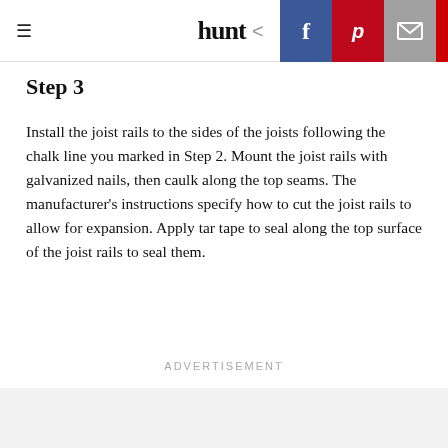≡  hunt <  [facebook] [pinterest] [email]
Step 3
Install the joist rails to the sides of the joists following the chalk line you marked in Step 2. Mount the joist rails with galvanized nails, then caulk along the top seams. The manufacturer's instructions specify how to cut the joist rails to allow for expansion. Apply tar tape to seal along the top surface of the joist rails to seal them.
Advertisement